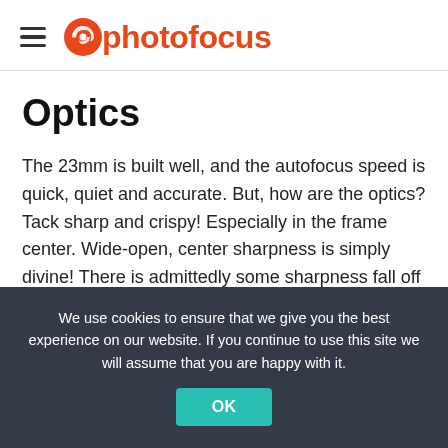photofocus
Optics
The 23mm is built well, and the autofocus speed is quick, quiet and accurate. But, how are the optics? Tack sharp and crispy! Especially in the frame center. Wide-open, center sharpness is simply divine! There is admittedly some sharpness fall off toward the edges.
We use cookies to ensure that we give you the best experience on our website. If you continue to use this site we will assume that you are happy with it.